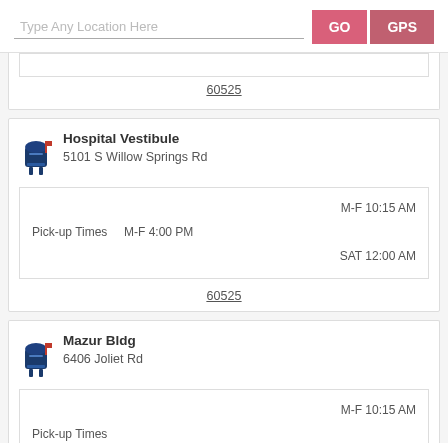Type Any Location Here
GO
GPS
60525
Hospital Vestibule
5101 S Willow Springs Rd
M-F 10:15 AM
Pick-up Times M-F 4:00 PM
SAT 12:00 AM
60525
Mazur Bldg
6406 Joliet Rd
M-F 10:15 AM
Pick-up Times M-F 4:00 PM